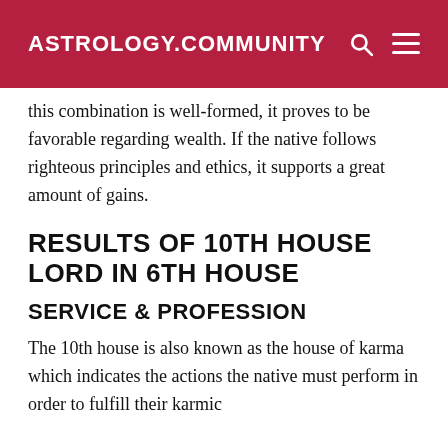ASTROLOGY.COMMUNITY
this combination is well-formed, it proves to be favorable regarding wealth. If the native follows righteous principles and ethics, it supports a great amount of gains.
RESULTS OF 10TH HOUSE LORD IN 6TH HOUSE
SERVICE & PROFESSION
The 10th house is also known as the house of karma which indicates the actions the native must perform in order to fulfill their karmic